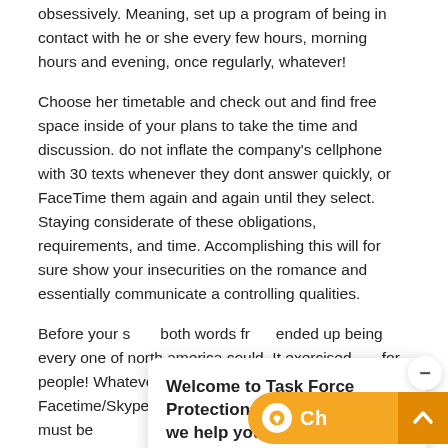obsessively. Meaning, set up a program of being in contact with he or she every few hours, morning hours and evening, once regularly, whatever!
Choose her timetable and check out and find free space inside of your plans to take the time and discussion. do not inflate the company's cellphone with 30 texts whenever they dont answer quickly, or FaceTime them again and again until they select. Staying considerate of these obligations, requirements, and time. Accomplishing this will for sure show your insecurities on the romance and essentially communicate a controlling qualities.
Before your s... both words fri... ended up being... every one of north america could. It exercised... for people! Whatever kind interaction select: n... Facetime/Skype, email, Kik, etc. just be sure that it must be
[Figure (screenshot): Chat popup overlay reading 'Welcome to Task Force Protection Bureau! How can we help you?' with a minimize button, an orange chat button with speech bubble icon and 'Ch' label, and a scroll-up arrow button.]